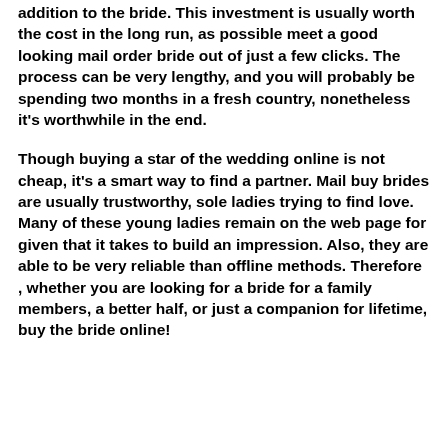addition to the bride. This investment is usually worth the cost in the long run, as possible meet a good looking mail order bride out of just a few clicks. The process can be very lengthy, and you will probably be spending two months in a fresh country, nonetheless it's worthwhile in the end.
Though buying a star of the wedding online is not cheap, it's a smart way to find a partner. Mail buy brides are usually trustworthy, sole ladies trying to find love. Many of these young ladies remain on the web page for given that it takes to build an impression. Also, they are able to be very reliable than offline methods. Therefore , whether you are looking for a bride for a family members, a better half, or just a companion for lifetime, buy the bride online!